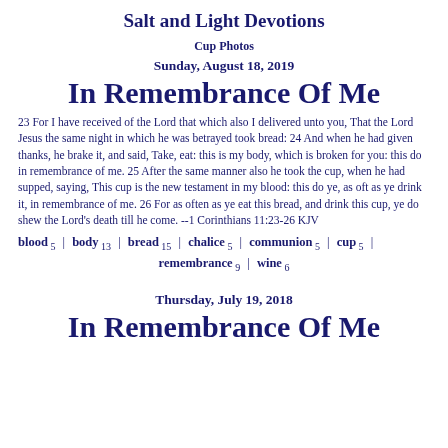Salt and Light Devotions
Cup Photos
Sunday, August 18, 2019
In Remembrance Of Me
23 For I have received of the Lord that which also I delivered unto you, That the Lord Jesus the same night in which he was betrayed took bread: 24 And when he had given thanks, he brake it, and said, Take, eat: this is my body, which is broken for you: this do in remembrance of me. 25 After the same manner also he took the cup, when he had supped, saying, This cup is the new testament in my blood: this do ye, as oft as ye drink it, in remembrance of me. 26 For as often as ye eat this bread, and drink this cup, ye do shew the Lord's death till he come. --1 Corinthians 11:23-26 KJV
blood 5 | body 13 | bread 15 | chalice 5 | communion 5 | cup 5 | remembrance 9 | wine 6
Thursday, July 19, 2018
In Remembrance Of Me